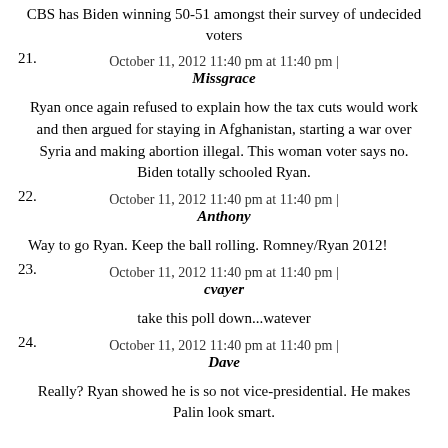CBS has Biden winning 50-51 amongst their survey of undecided voters
21. October 11, 2012 11:40 pm at 11:40 pm | Missgrace
Ryan once again refused to explain how the tax cuts would work and then argued for staying in Afghanistan, starting a war over Syria and making abortion illegal. This woman voter says no. Biden totally schooled Ryan.
22. October 11, 2012 11:40 pm at 11:40 pm | Anthony
Way to go Ryan. Keep the ball rolling. Romney/Ryan 2012!
23. October 11, 2012 11:40 pm at 11:40 pm | cvayer
take this poll down...watever
24. October 11, 2012 11:40 pm at 11:40 pm | Dave
Really? Ryan showed he is so not vice-presidential. He makes Palin look smart.